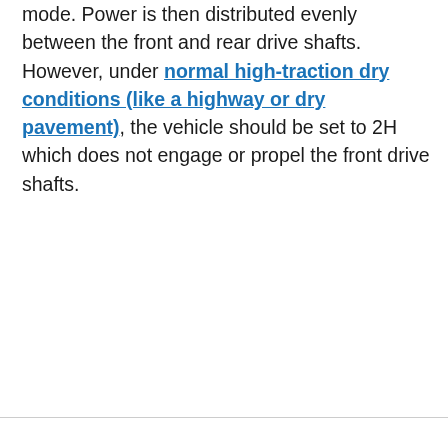mode. Power is then distributed evenly between the front and rear drive shafts. However, under normal high-traction dry conditions (like a highway or dry pavement), the vehicle should be set to 2H which does not engage or propel the front drive shafts.